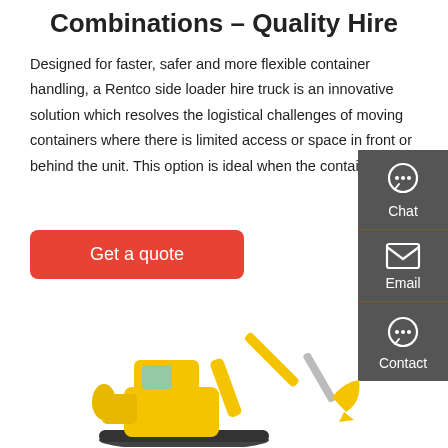Combinations – Quality Hire
Designed for faster, safer and more flexible container handling, a Rentco side loader hire truck is an innovative solution which resolves the logistical challenges of moving containers where there is limited access or space in front or behind the unit. This option is ideal when the container is …
Get a quote
[Figure (infographic): Dark grey sidebar with Chat, Email, and Contact icons and labels on the right side of the page]
[Figure (photo): Yellow mini excavator (Yuchai brand) on white background, shown in profile with arm extended and bucket visible]